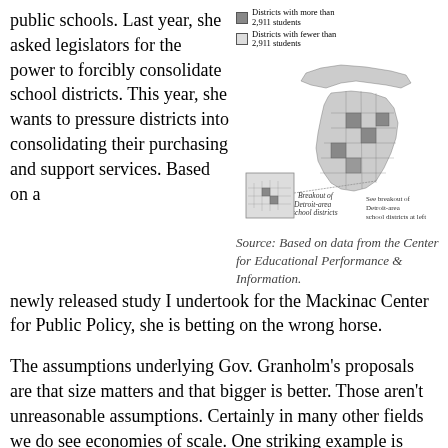public schools. Last year, she asked legislators for the power to forcibly consolidate school districts. This year, she wants to pressure districts into consolidating their purchasing and support services. Based on a newly released study I undertook for the Mackinac Center for Public Policy, she is betting on the wrong horse.
[Figure (map): Map of Michigan school districts, with legend showing districts with more than 2,911 students (dark shading) and districts with fewer than 2,911 students (light shading). Includes a breakout inset of Detroit-area school districts.]
Source: Based on data from the Center for Educational Performance & Information.
The assumptions underlying Gov. Granholm's proposals are that size matters and that bigger is better. Those aren't unreasonable assumptions. Certainly in many other fields we do see economies of scale. One striking example is Wal-Mart, which has the buying power of a